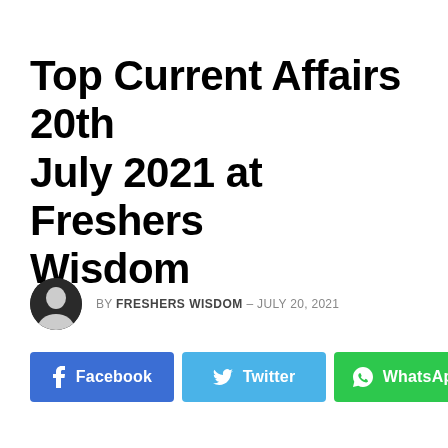Top Current Affairs 20th July 2021 at Freshers Wisdom
BY FRESHERS WISDOM – JULY 20, 2021
[Figure (other): Social share buttons row: Facebook (blue), Twitter (light blue), WhatsApp (green), and a generic share button (grey)]